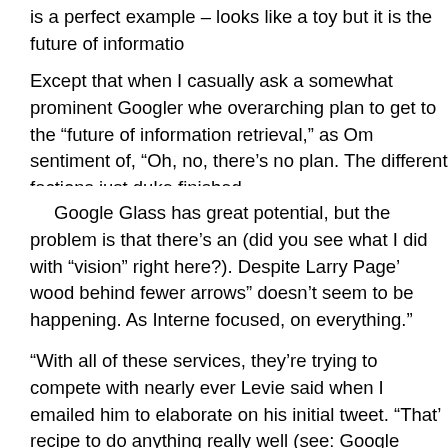is a perfect example – looks like a toy but it is the future of informatio
Except that when I casually ask a somewhat prominent Googler whe overarching plan to get to the "future of information retrieval," as Om sentiment of, "Oh, no, there's no plan. The different factions just duke finished.
Google Glass has great potential, but the problem is that there's an (did you see what I did with "vision" right here?). Despite Larry Page' wood behind fewer arrows" doesn't seem to be happening. As Interne focused, on everything."
"With all of these services, they're trying to compete with nearly ever Levie said when I emailed him to elaborate on his initial tweet. "That' recipe to do anything really well (see: Google Health, Wallet, Checko nagging suspicion that Page is driving without a map.
I guess Google fans (which, in a sense, I am) just hang onto the Goo company its trials and errors, of which there are many. We hang on t conscious macro-vision for the company and everything will fall into p